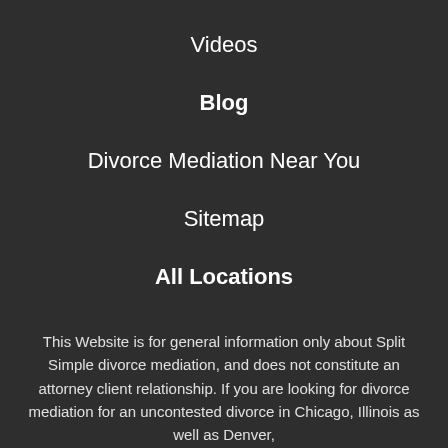Videos
Blog
Divorce Mediation Near You
Sitemap
All Locations
This Website is for general information only about Split Simple divorce mediation, and does not constitute an attorney client relationship. If you are looking for divorce mediation for an uncontested divorce in Chicago, Illinois as well as Denver,